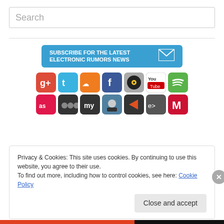Search
[Figure (infographic): Subscribe for the latest Electronic Rumors News banner with email icon, followed by two rows of social media icons including Google+, Twitter, SoundCloud, Facebook, YouTube, Spotify, Last.fm, Myspace, MySpace Music, a DJ icon, Deezer, eMusic, and Mixcloud]
Privacy & Cookies: This site uses cookies. By continuing to use this website, you agree to their use.
To find out more, including how to control cookies, see here: Cookie Policy
Close and accept